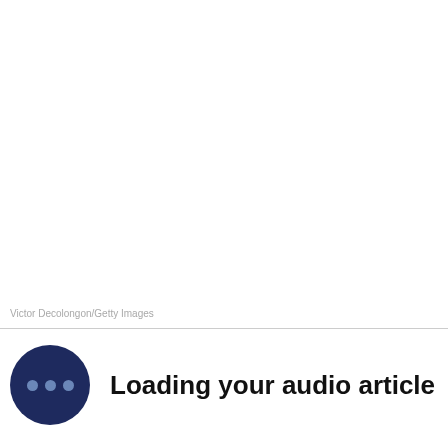[Figure (photo): White/blank photo area]
Victor Decolongon/Getty Images
Loading your audio article